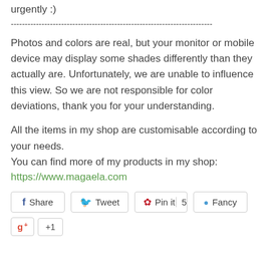urgently :)
------------------------------------------------------------------------
Photos and colors are real, but your monitor or mobile device may display some shades differently than they actually are. Unfortunately, we are unable to influence this view. So we are not responsible for color deviations, thank you for your understanding.
All the items in my shop are customisable according to your needs.
You can find more of my products in my shop:
https://www.magaela.com